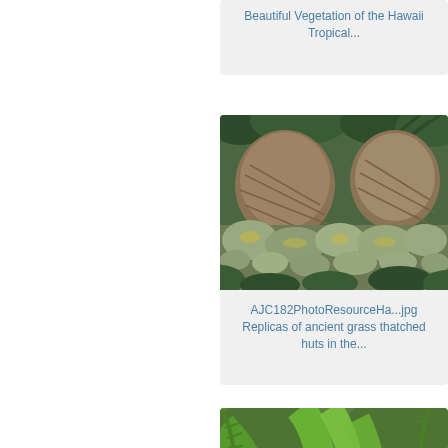Beautiful Vegetation of the Hawaii Tropical...
[Figure (photo): Rocks and boulders covered in moss/lichen surrounded by tropical vegetation and thatched hut structures]
AJC182PhotoResourceHa...jpg
Replicas of ancient grass thatched huts in the...
[Figure (photo): Tropical plant with large green leaves and an orange bird of paradise flower]